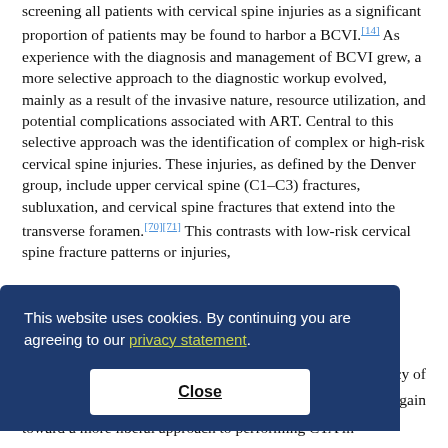screening all patients with cervical spine injuries as a significant proportion of patients may be found to harbor a BCVI.[14] As experience with the diagnosis and management of BCVI grew, a more selective approach to the diagnostic workup evolved, mainly as a result of the invasive nature, resource utilization, and potential complications associated with ART. Central to this selective approach was the identification of complex or high-risk cervical spine injuries. These injuries, as defined by the Denver group, include upper cervical spine (C1–C3) fractures, subluxation, and cervical spine fractures that extend into the transverse foramen.[70][71] This contrasts with low-risk cervical spine fracture patterns or injuries,
This website uses cookies. By continuing you are agreeing to our privacy statement.
Close
cy of again toward a more liberal approach to performing CTA in